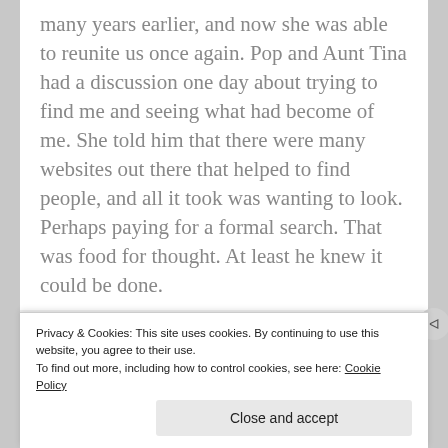many years earlier, and now she was able to reunite us once again. Pop and Aunt Tina had a discussion one day about trying to find me and seeing what had become of me. She told him that there were many websites out there that helped to find people, and all it took was wanting to look. Perhaps paying for a formal search. That was food for thought. At least he knew it could be done.
[Figure (screenshot): Screenshot of a video streaming app 'Up Next' panel showing dark UI with thumbnails for 'The Making of Boris Johnson' and other videos, with a cyan arc graphic on the left]
Privacy & Cookies: This site uses cookies. By continuing to use this website, you agree to their use.
To find out more, including how to control cookies, see here: Cookie Policy
Close and accept